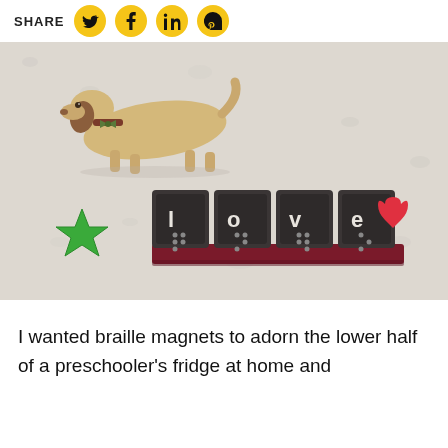SHARE
[Figure (photo): Photo of braille letter magnets spelling 'love' on a refrigerator surface, with a wooden dachshund magnet, a green star magnet, and a red heart on the magnet set.]
I wanted braille magnets to adorn the lower half of a preschooler's fridge at home and